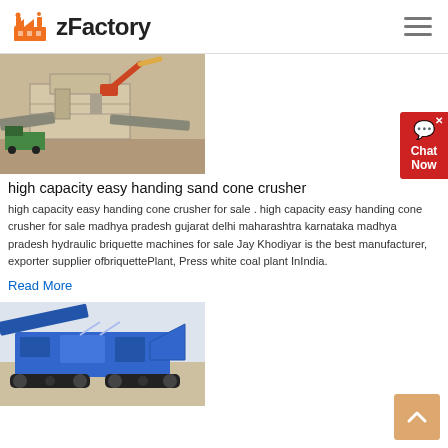zFactory
[Figure (photo): Aerial view of a large industrial sand cone crusher machine with an excavator loading material, beige/tan colored heavy machinery on a dirt ground with a truck nearby.]
high capacity easy handing sand cone crusher
high capacity easy handing cone crusher for sale . high capacity easy handing cone crusher for sale madhya pradesh gujarat delhi maharashtra karnataka madhya pradesh hydraulic briquette machines for sale Jay Khodiyar is the best manufacturer, exporter supplier ofbriquettePlant, Press white coal plant InIndia.
Read More
[Figure (photo): A blue mobile jaw crusher/screening machine on tracks, photographed outdoors with sandy ground and pale sky background.]